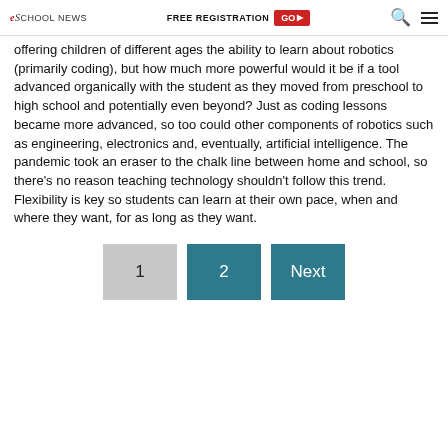eSchool News | FREE REGISTRATION GO ▶
offering children of different ages the ability to learn about robotics (primarily coding), but how much more powerful would it be if a tool advanced organically with the student as they moved from preschool to high school and potentially even beyond? Just as coding lessons became more advanced, so too could other components of robotics such as engineering, electronics and, eventually, artificial intelligence. The pandemic took an eraser to the chalk line between home and school, so there's no reason teaching technology shouldn't follow this trend. Flexibility is key so students can learn at their own pace, when and where they want, for as long as they want.
1  2  Next